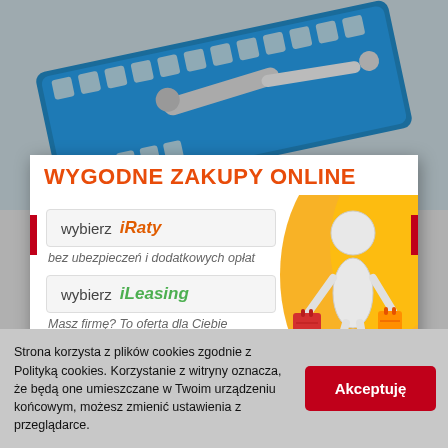[Figure (photo): Blue tool case with socket wrenches, ratchets, and various metal tools arranged inside]
WYGODNE ZAKUPY ONLINE
[Figure (infographic): Promotional banner with orange/yellow wave background, showing two options: 'wybierz iRaty' and 'wybierz iLeasing', a 3D shopping figure carrying bags, and a 'Zamknij' close button]
Strona korzysta z plików cookies zgodnie z Polityką cookies. Korzystanie z witryny oznacza, że będą one umieszczane w Twoim urządzeniu końcowym, możesz zmienić ustawienia z przeglądarce.